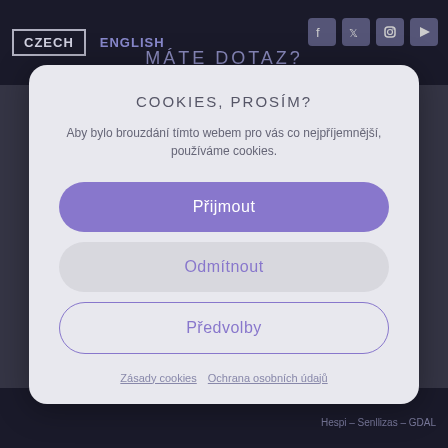CZECH  ENGLISH
MÁTE DOTAZ?
COOKIES, PROSÍM?
Aby bylo brouzdání tímto webem pro vás co nejpříjemnější, používáme cookies.
Přijmout
Odmítnout
Předvolby
Zásady cookies   Ochrana osobních údajů
Hespi – Senllizas – GDAL